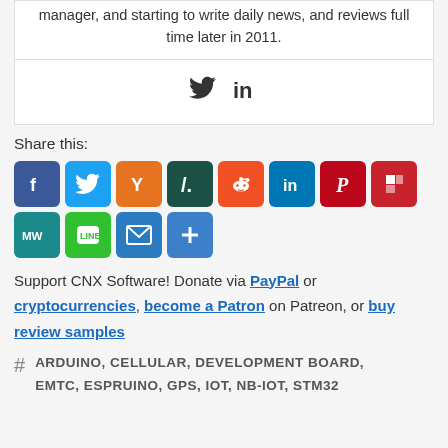manager, and starting to write daily news, and reviews full time later in 2011.
[Figure (other): Twitter and LinkedIn social icons for author]
Share this:
[Figure (other): Share buttons: Facebook, Twitter, Hacker News, Hacker News slash, Reddit, LinkedIn, Pinterest, Flipboard, MeWe, LINE, Email, More]
Support CNX Software! Donate via PayPal or cryptocurrencies, become a Patron on Patreon, or buy review samples
# ARDUINO, CELLULAR, DEVELOPMENT BOARD, EMTC, ESPRUINO, GPS, IOT, NB-IOT, STM32